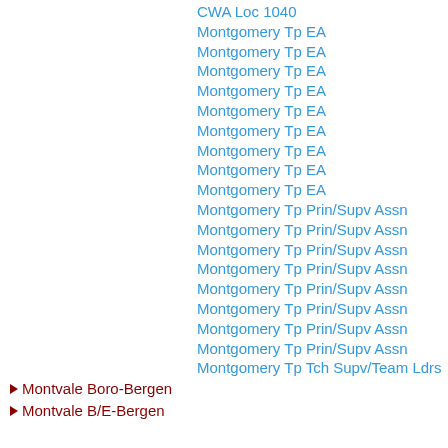CWA Loc 1040
Montgomery Tp EA
Montgomery Tp EA
Montgomery Tp EA
Montgomery Tp EA
Montgomery Tp EA
Montgomery Tp EA
Montgomery Tp EA
Montgomery Tp EA
Montgomery Tp EA
Montgomery Tp Prin/Supv Assn
Montgomery Tp Prin/Supv Assn
Montgomery Tp Prin/Supv Assn
Montgomery Tp Prin/Supv Assn
Montgomery Tp Prin/Supv Assn
Montgomery Tp Prin/Supv Assn
Montgomery Tp Prin/Supv Assn
Montgomery Tp Prin/Supv Assn
Montgomery Tp Tch Supv/Team Ldrs
Montvale Boro-Bergen
Montvale B/E-Bergen